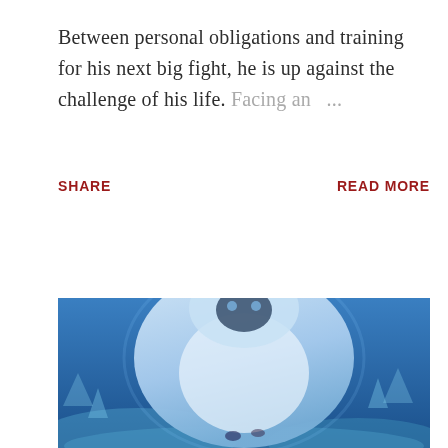Between personal obligations and training for his next big fight, he is up against the challenge of his life. Facing an ...
SHARE    READ MORE
[Figure (photo): A blue-toned image of a large animated or CGI creature (possibly a big white/blue beast or monster) looming over smaller figures, with snowy or icy surroundings.]